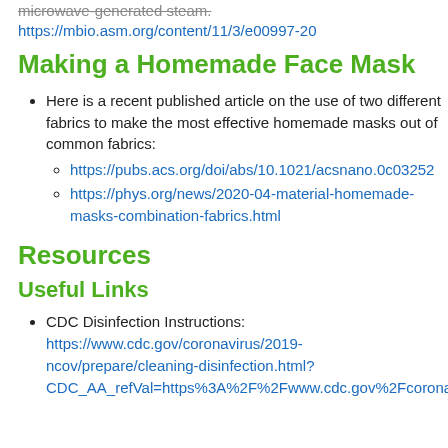microwave-generated steam. https://mbio.asm.org/content/11/3/e00997-20
Making a Homemade Face Mask
Here is a recent published article on the use of two different fabrics to make the most effective homemade masks out of common fabrics:
https://pubs.acs.org/doi/abs/10.1021/acsnano.0c03252
https://phys.org/news/2020-04-material-homemade-masks-combination-fabrics.html
Resources
Useful Links
CDC Disinfection Instructions: https://www.cdc.gov/coronavirus/2019-ncov/prepare/cleaning-disinfection.html?CDC_AA_refVal=https%3A%2F%2Fwww.cdc.gov%2Fcoronavirus%2Fncov%2Fcommunity%2Fhome%2Fcleaning-disinfection.html